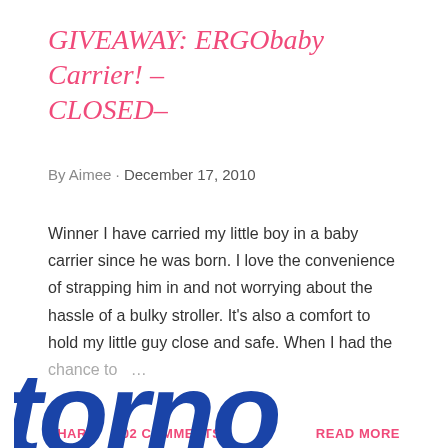GIVEAWAY: ERGObaby Carrier! – CLOSED–
By Aimee · December 17, 2010
Winner I have carried my little boy in a baby carrier since he was born. I love the convenience of strapping him in and not worrying about the hassle of a bulky stroller. It's also a comfort to hold my little guy close and safe. When I had the chance to ...
SHARE    302 COMMENTS    READ MORE
[Figure (logo): Partial blue logo text reading 'tomo' or similar, cut off at bottom of page]